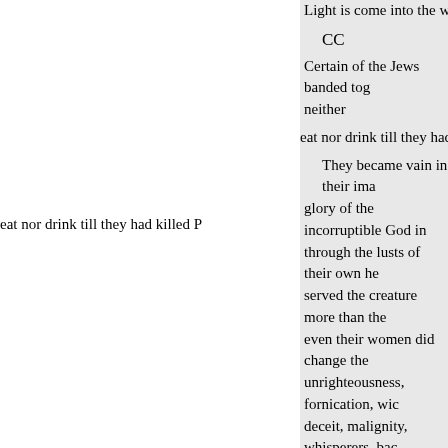Light is come into the world.
CC
Certain of the Jews banded together, neither
eat nor drink till they had killed P
They became vain in their imaginations, and changed the glory of the incorruptible God into an image, &c. through the lusts of their own hearts, &c. Who served the creature more than the Creator, &c. even their women did change the use, &c. unrighteousness, fornication, wickedness, covetousness, deceit, malignity, whisperers, backbiters, haters of good things, disobedient to parents, &c. without natural affection, unmerciful, &c. Not only do the same, but take pleasure. 32.
There is none righteous, no not one: their throat is an open sepulchre; with their tongues they have used deceit; their mouth is full of cursing and bitterness: there is no fear of God before their eyes.-Rom. iii. 10-19. Ps. v.
While we were yet sinners, &c.
The carnal mind is enmity against God, &c. Rom. viii. 7.